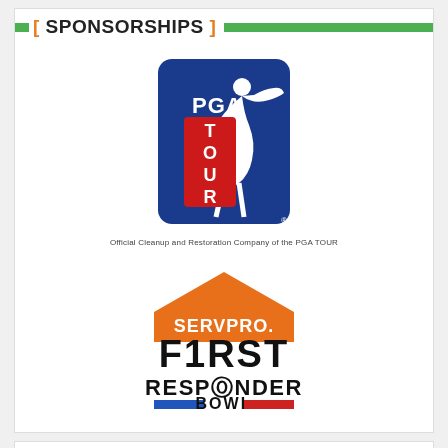[ SPONSORSHIPS ]
[Figure (logo): PGA TOUR official logo — blue rounded rectangle with golfer silhouette and red TOUR lettering]
Official Cleanup and Restoration Company of the PGA TOUR
[Figure (logo): SERVPRO First Responder Bowl logo — orange house/chevron shape with SERVPRO text, large F1RST RESPONDER BOWL text with blue and red bars]
[ REVIEW & ] TESTIMONIALS
Your technicians were super. Even coming out on New Year's